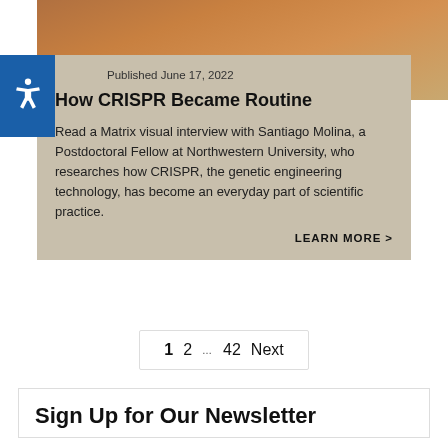[Figure (photo): Photo of a person wearing a brown/tan jacket, cropped to show upper torso and partial face, with an outdoor green background]
Published June 17, 2022
How CRISPR Became Routine
Read a Matrix visual interview with Santiago Molina, a Postdoctoral Fellow at Northwestern University, who researches how CRISPR, the genetic engineering technology, has become an everyday part of scientific practice.
LEARN MORE >
1  2  …  42  Next
Sign Up for Our Newsletter